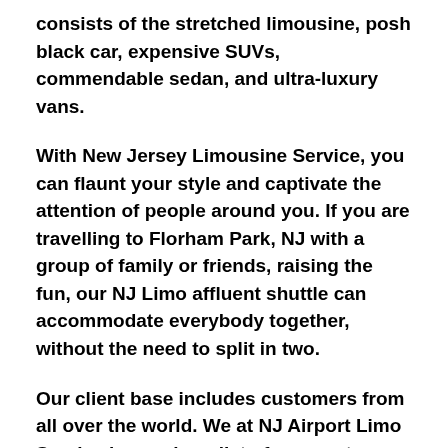consists of the stretched limousine, posh black car, expensive SUVs, commendable sedan, and ultra-luxury vans.
With New Jersey Limousine Service, you can flaunt your style and captivate the attention of people around you. If you are travelling to Florham Park, NJ with a group of family or friends, raising the fun, our NJ Limo affluent shuttle can accommodate everybody together, without the need to split in two.
Our client base includes customers from all over the world. We at NJ Airport Limo Service have a long list of corporate clients as well as tourist who seeks for the punctual and at the same time serene car